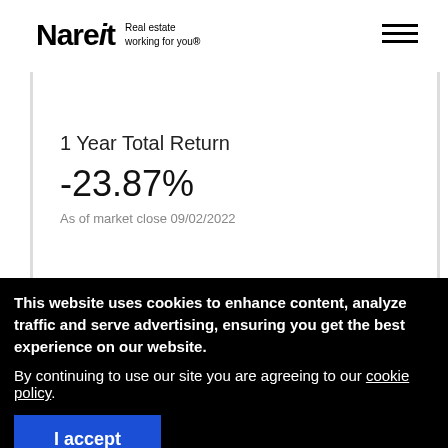Nareit Real estate working for you®
1 Year Total Return
-23.87%
As of market close 09/02/2022
This website uses cookies to enhance content, analyze traffic and serve advertising, ensuring you get the best experience on our website.
By continuing to use our site you are agreeing to our cookie policy.